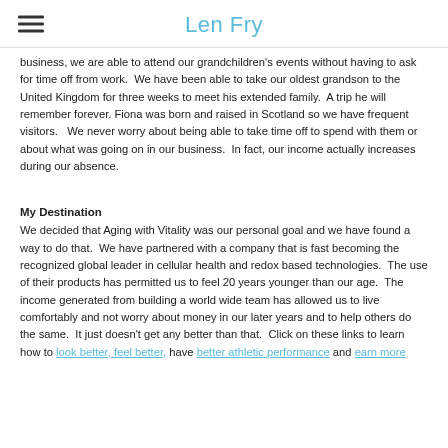Len Fry
business, we are able to attend our grandchildren's events without having to ask for time off from work.  We have been able to take our oldest grandson to the United Kingdom for three weeks to meet his extended family.  A trip he will remember forever. Fiona was born and raised in Scotland so we have frequent visitors.   We never worry about being able to take time off to spend with them or about what was going on in our business.  In fact, our income actually increases during our absence.
My Destination
We decided that Aging with Vitality was our personal goal and we have found a way to do that.  We have partnered with a company that is fast becoming the recognized global leader in cellular health and redox based technologies.  The use of their products has permitted us to feel 20 years younger than our age.  The income generated from building a world wide team has allowed us to live comfortably and not worry about money in our later years and to help others do the same.  It just doesn't get any better than that.  Click on these links to learn how to look better, feel better, have better athletic performance and earn more